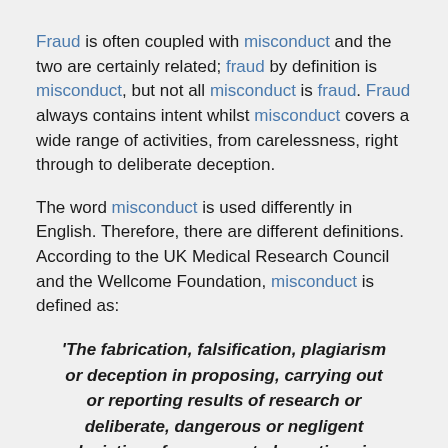Fraud is often coupled with misconduct and the two are certainly related; fraud by definition is misconduct, but not all misconduct is fraud. Fraud always contains intent whilst misconduct covers a wide range of activities, from carelessness, right through to deliberate deception.
The word misconduct is used differently in English. Therefore, there are different definitions. According to the UK Medical Research Council and the Wellcome Foundation, misconduct is defined as:
'The fabrication, falsification, plagiarism or deception in proposing, carrying out or reporting results of research or deliberate, dangerous or negligent deviations from accepted practices in carrying out research.'